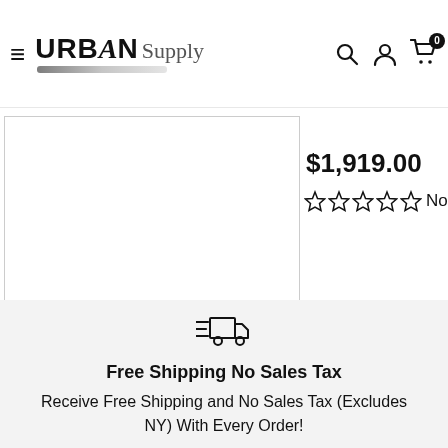URBAN Supply — navigation header with hamburger menu, logo, search, account, and cart icons
$1,919.00
☆☆☆☆☆ No
[Figure (illustration): Product image placeholder (white box with border)]
[Figure (illustration): Fast shipping truck icon]
Free Shipping No Sales Tax
Receive Free Shipping and No Sales Tax (Excludes NY) With Every Order!